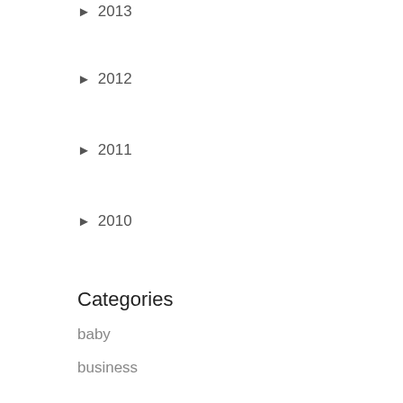► 2013
► 2012
► 2011
► 2010
Categories
baby
business
dance
engagement
event
family
fashion
fitness
food